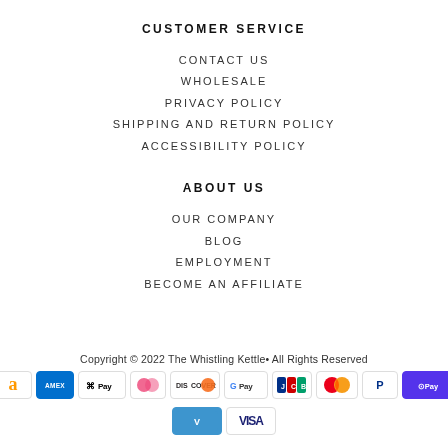CUSTOMER SERVICE
CONTACT US
WHOLESALE
PRIVACY POLICY
SHIPPING AND RETURN POLICY
ACCESSIBILITY POLICY
ABOUT US
OUR COMPANY
BLOG
EMPLOYMENT
BECOME AN AFFILIATE
Copyright © 2022 The Whistling Kettle• All Rights Reserved
[Figure (other): Payment method icons: Amazon, American Express, Apple Pay, Diners Club, Discover, Google Pay, JCB, Mastercard, PayPal, Shop Pay, Venmo, Visa]